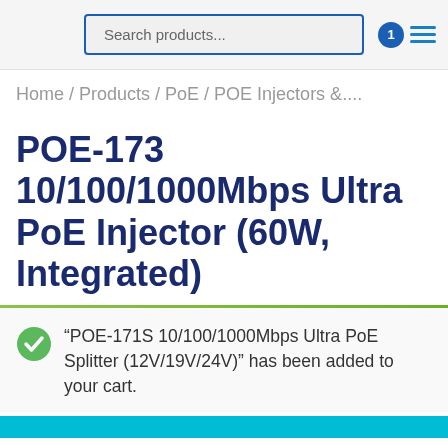Search products...
Home / Products / PoE / POE Injectors &....
POE-173 10/100/1000Mbps Ultra PoE Injector (60W, Integrated)
"POE-171S 10/100/1000Mbps Ultra PoE Splitter (12V/19V/24V)" has been added to your cart.